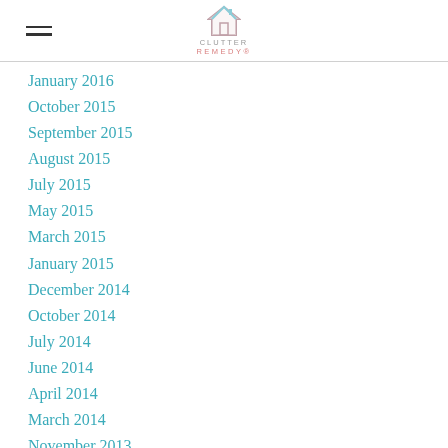Clutter Remedy
January 2016
October 2015
September 2015
August 2015
July 2015
May 2015
March 2015
January 2015
December 2014
October 2014
July 2014
June 2014
April 2014
March 2014
November 2013
October 2013
August 2013